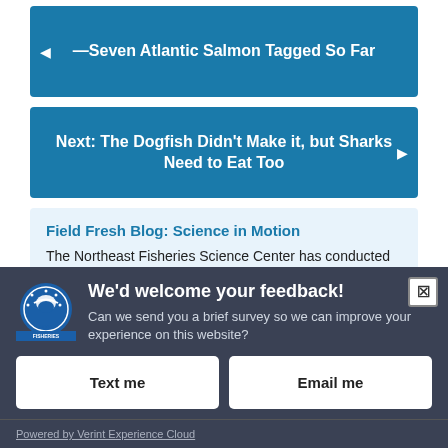—Seven Atlantic Salmon Tagged So Far
Next: The Dogfish Didn't Make it, but Sharks Need to Eat Too
Field Fresh Blog: Science in Motion
The Northeast Fisheries Science Center has conducted
We'd welcome your feedback!
Can we send you a brief survey so we can improve your experience on this website?
Text me
Email me
Powered by Verint Experience Cloud